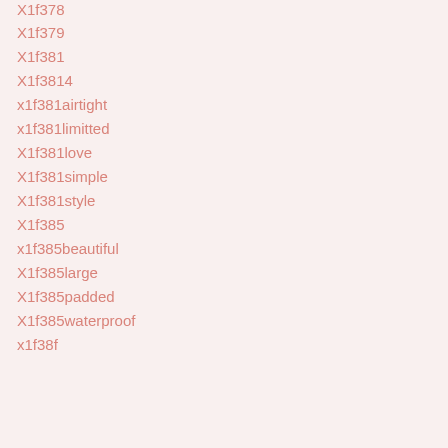X1f378
X1f379
X1f381
X1f3814
x1f381airtight
x1f381limitted
X1f381love
X1f381simple
X1f381style
X1f385
x1f385beautiful
X1f385large
X1f385padded
X1f385waterproof
x1f38f